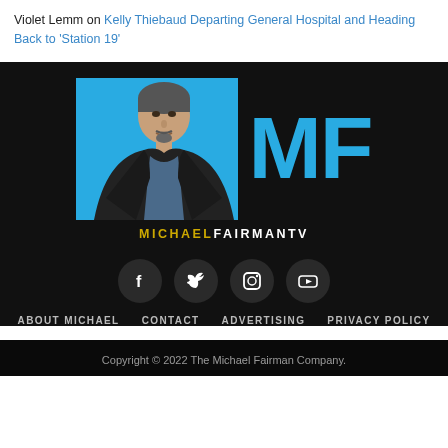Violet Lemm on Kelly Thiebaud Departing General Hospital and Heading Back to ‘Station 19’
[Figure (logo): Michael Fairman TV logo: blue rectangle with man's photo on left, large cyan MF letters on right, MICHAELFAIRMANTV text below in gold and white]
[Figure (infographic): Social media icons row: Facebook, Twitter, Instagram, YouTube — white icons on dark circular backgrounds]
ABOUT MICHAEL   CONTACT   ADVERTISING   PRIVACY POLICY
Copyright © 2022 The Michael Fairman Company.